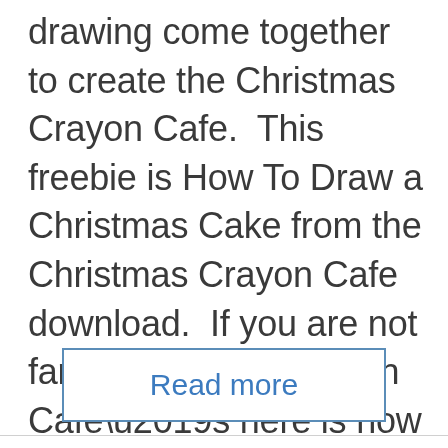drawing come together to create the Christmas Crayon Cafe.  This freebie is How To Draw a Christmas Cake from the Christmas Crayon Cafe download.  If you are not familiar with the Crayon Cafe’s here is how they work.  [...]
Read more